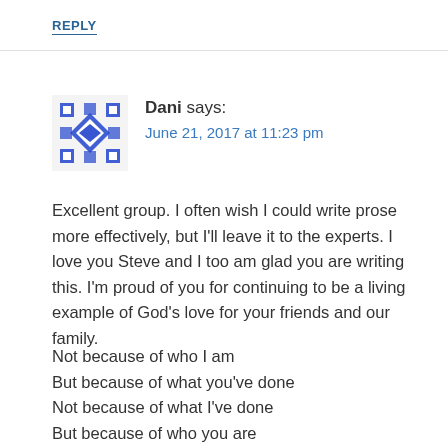REPLY
[Figure (illustration): Blue and white geometric/snowflake avatar icon for user Dani]
Dani says:
June 21, 2017 at 11:23 pm
Excellent group. I often wish I could write prose more effectively, but I'll leave it to the experts. I love you Steve and I too am glad you are writing this. I'm proud of you for continuing to be a living example of God's love for your friends and our family.
Not because of who I am
But because of what you've done
Not because of what I've done
But because of who you are
I am a flower quickly fading
Here today and gone tomorrow
A wave tossed in the ocean